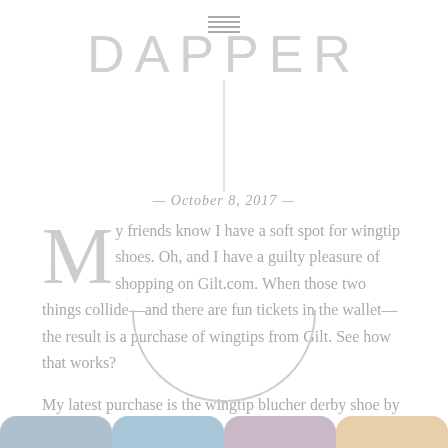DAPPER
— October 8, 2017 —
My friends know I have a soft spot for wingtip shoes. Oh, and I have a guilty pleasure of shopping on Gilt.com. When those two things collide—and there are fun tickets in the wallet—the result is a purchase of wingtips from Gilt. See how that works?
My latest purchase is the wingtip blucher derby shoe by